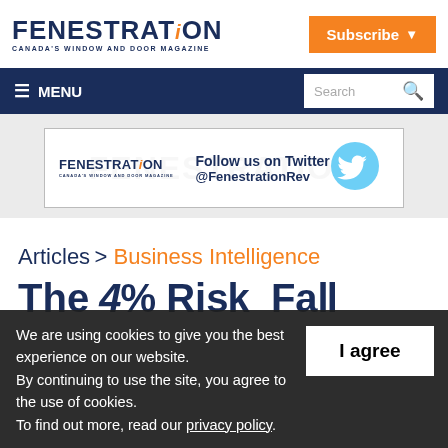FENESTRATION REVIEW — CANADA'S WINDOW AND DOOR MAGAZINE
[Figure (logo): Fenestration Review logo with 'Subscribe' orange button and hamburger menu nav bar with search]
[Figure (screenshot): Fenestration Review Twitter follow banner: Follow us on Twitter @FenestrationRev with Twitter bird icon]
Articles > Business Intelligence
The...
We are using cookies to give you the best experience on our website.
By continuing to use the site, you agree to the use of cookies.
To find out more, read our privacy policy.